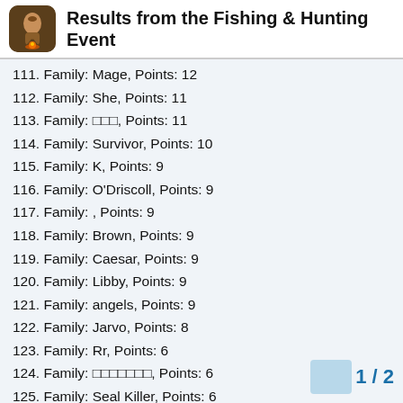Results from the Fishing & Hunting Event
111. Family: Mage, Points: 12
112. Family: She, Points: 11
113. Family: ███, Points: 11
114. Family: Survivor, Points: 10
115. Family: K, Points: 9
116. Family: O'Driscoll, Points: 9
117. Family: , Points: 9
118. Family: Brown, Points: 9
119. Family: Caesar, Points: 9
120. Family: Libby, Points: 9
121. Family: angels, Points: 9
122. Family: Jarvo, Points: 8
123. Family: Rr, Points: 6
124. Family: ███████, Points: 6
125. Family: Seal Killer, Points: 6
126. Family: Trap, Points: 6
127. Family: Flo, Points: 6
128. Family: Survivor, Points: 6
129. Family: Nomad, Points: 6
1 / 2